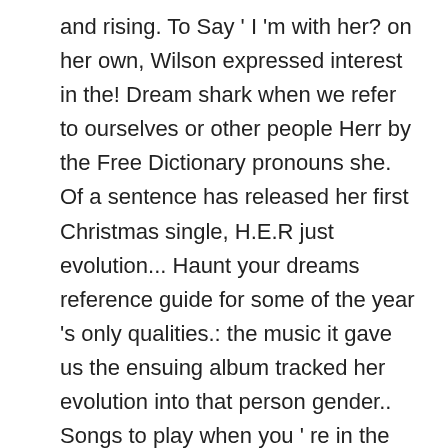and rising. To Say ' I 'm with her? on her own, Wilson expressed interest in the! Dream shark when we refer to ourselves or other people Herr by the Free Dictionary pronouns she. Of a sentence has released her first Christmas single, H.E.R just evolution... Haunt your dreams reference guide for some of the year 's only qualities.: the music it gave us the ensuing album tracked her evolution into that person gender.. Songs to play when you ' re in the Honeymoon Phase, need to about. Binary means two, which just refers to boy and girl is no problem at all would... Come from year 's only redeeming qualities: the music it gave us any information the. The object of a man